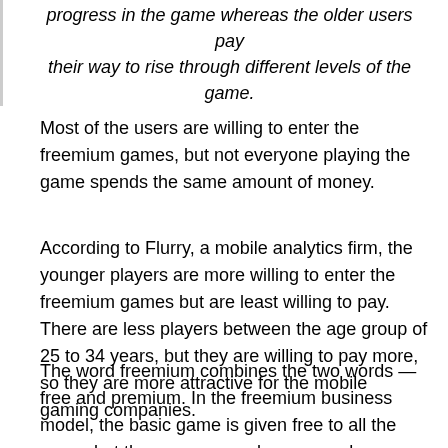progress in the game whereas the older users pay their way to rise through different levels of the game.
Most of the users are willing to enter the freemium games, but not everyone playing the game spends the same amount of money.
According to Flurry, a mobile analytics firm, the younger players are more willing to enter the freemium games but are least willing to pay. There are less players between the age group of 25 to 34 years, but they are willing to pay more, so they are more attractive for the mobile gaming companies.
The word freemium combines the two words — free and premium. In the freemium business model, the basic game is given free to all the users, but the company makes money by offering advanced features of the game in lieu of payment.